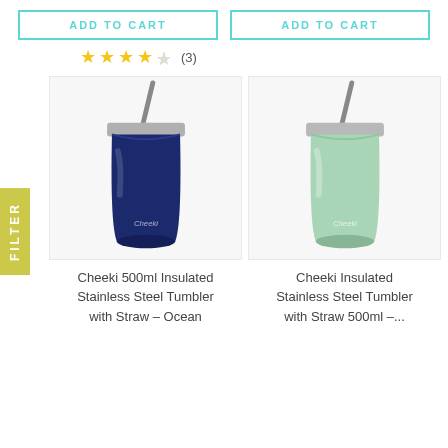ADD TO CART
ADD TO CART
★★★★☆ (3)
FILTER
[Figure (photo): Cheeki navy blue insulated stainless steel tumbler with metal straw and silver lid]
[Figure (photo): Cheeki mint green insulated stainless steel tumbler with metal straw and silver lid]
Cheeki 500ml Insulated Stainless Steel Tumbler with Straw – Ocean
Cheeki Insulated Stainless Steel Tumbler with Straw 500ml –...